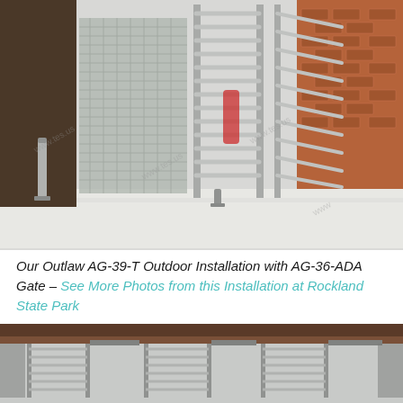[Figure (photo): Outdoor installation of Outlaw AG-39-T full-height turnstile with AG-36-ADA gate against a brick building exterior, snowy ground, stainless steel construction, watermark text visible]
Our Outlaw AG-39-T Outdoor Installation with AG-36-ADA Gate – See More Photos from this Installation at Rockland State Park
[Figure (photo): Exterior view of multiple full-height turnstile lanes installed at a facility entrance, metal framed building with brown fascia, gray sky, green phone button overlay]